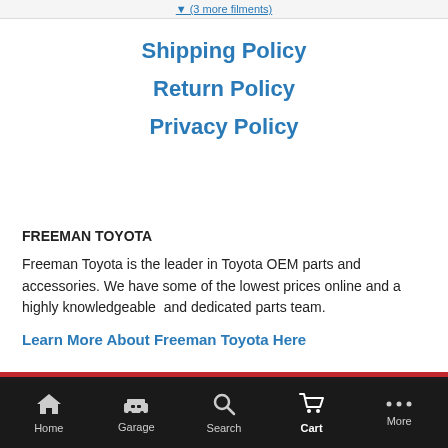(3 more filments)
Shipping Policy
Return Policy
Privacy Policy
FREEMAN TOYOTA
Freeman Toyota is the leader in Toyota OEM parts and accessories. We have some of the lowest prices online and a highly knowledgeable  and dedicated parts team.
Learn More About Freeman Toyota Here
Home  Garage  Search  Cart  More